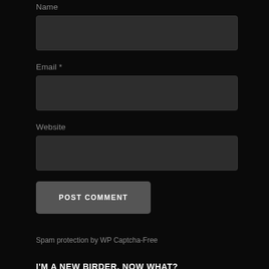Name
[Figure (screenshot): Name input text field, dark gray background]
Email *
[Figure (screenshot): Email input text field, dark gray background]
Website
[Figure (screenshot): Website input text field, dark gray background]
[Figure (screenshot): POST COMMENT button, dark gray rounded rectangle]
Spam protection by WP Captcha-Free
I'M A NEW BIRDER, NOW WHAT?
I THINK I AM A BIRDER, WHAT DO I DO?
BIRDING TERMS
WHERE TO START